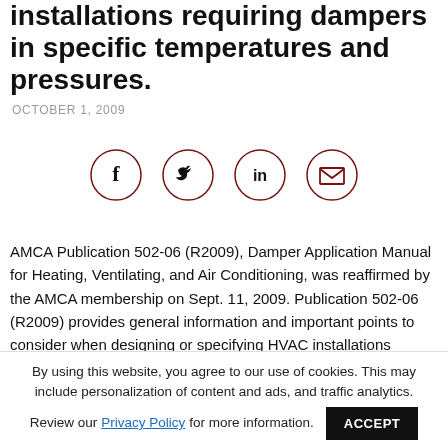installations requiring dampers in specific temperatures and pressures.
OCTOBER 1, 2009
[Figure (infographic): Four circular social media share icons in dark red outline: Facebook (f), Twitter (bird), LinkedIn (in), Email (envelope)]
AMCA Publication 502-06 (R2009), Damper Application Manual for Heating, Ventilating, and Air Conditioning, was reaffirmed by the AMCA membership on Sept. 11, 2009. Publication 502-06 (R2009) provides general information and important points to consider when designing or specifying HVAC installations requiring dampers in specific temperatures and pressures.
By using this website, you agree to our use of cookies. This may include personalization of content and ads, and traffic analytics. Review our Privacy Policy for more information. ACCEPT